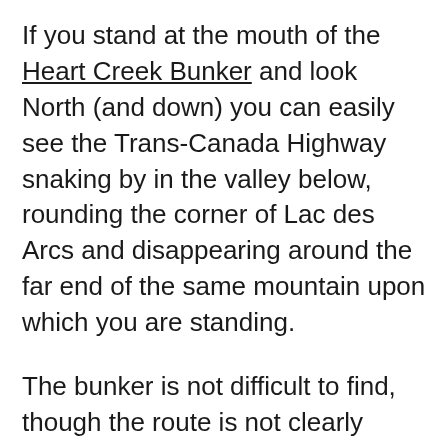If you stand at the mouth of the Heart Creek Bunker and look North (and down) you can easily see the Trans-Canada Highway snaking by in the valley below, rounding the corner of Lac des Arcs and disappearing around the far end of the same mountain upon which you are standing.
The bunker is not difficult to find, though the route is not clearly marked as to what you will see when you embark on the short two kilometer trail part way up the side of a cliff face.
In fact, if it wasn't for various social media and independent hiking guide sites I doubt many people [continues]